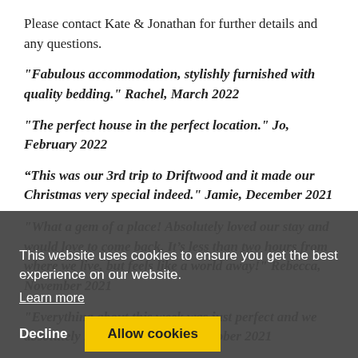Please contact Kate & Jonathan for further details and any questions.
"Fabulous accommodation, stylishly furnished with quality bedding." Rachel, March 2022
"The perfect house in the perfect location." Jo, February 2022
“This was our 3rd trip to Driftwood and it made our Christmas very special indeed." Jamie, December 2021
"What a gem of a place! Absolutely loved our stay and would love to come back. It’s less than two hours from where we live, but feels like a world away!" Rebecca, November 2021
"Everything about this week was just perfect and we absolutely loved it." Meredith, October 2021
“Fitted out with everything you could possibly need. Comfortable beds and bedding and towels excellent.
This website uses cookies to ensure you get the best experience on our website.
Learn more
Decline  Allow cookies